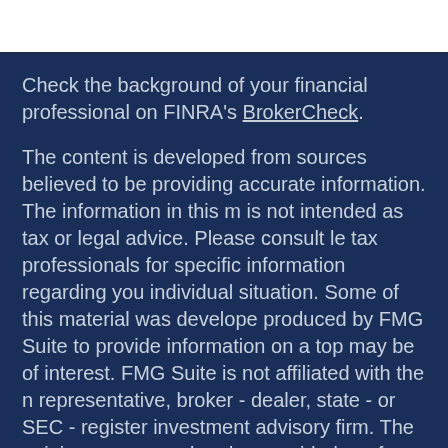Check the background of your financial professional on FINRA's BrokerCheck.
The content is developed from sources believed to be providing accurate information. The information in this material is not intended as tax or legal advice. Please consult legal or tax professionals for specific information regarding your individual situation. Some of this material was developed and produced by FMG Suite to provide information on a topic that may be of interest. FMG Suite is not affiliated with the named representative, broker - dealer, state - or SEC - registered investment advisory firm. The opinions expressed and material provided are for general information, and should not be considered a solicitation for the purchase or sale of any security.